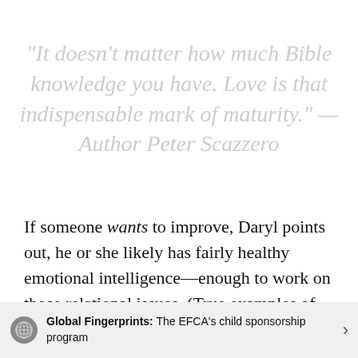“It doesn’t matter how much Bible knowledge you have. Love is that indispensable mark of maturity.” — Author Peter Scazzero
If someone wants to improve, Daryl points out, he or she likely has fairly healthy emotional intelligence—enough to work on those relational issues. (True examples of low EQ are actually difficult to remedy, simply because
Global Fingerprints: The EFCA’s child sponsorship program